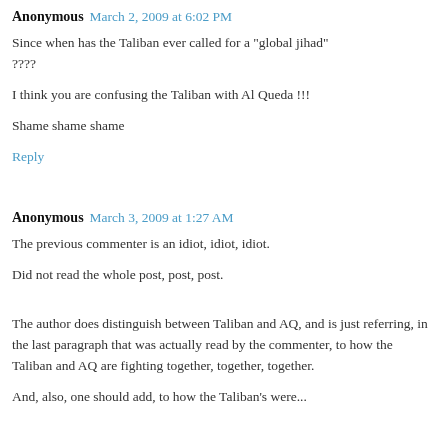Anonymous  March 2, 2009 at 6:02 PM
Since when has the Taliban ever called for a "global jihad" ????
I think you are confusing the Taliban with Al Queda !!!
Shame shame shame
Reply
Anonymous  March 3, 2009 at 1:27 AM
The previous commenter is an idiot, idiot, idiot.
Did not read the whole post, post, post.
The author does distinguish between Taliban and AQ, and is just referring, in the last paragraph that was actually read by the commenter, to how the Taliban and AQ are fighting together, together, together.
And, also, one should add, to how the Taliban's were...